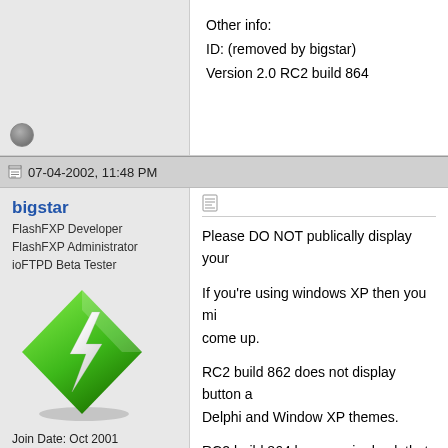Other info:
ID: (removed by bigstar)
Version 2.0 RC2 build 864
07-04-2002, 11:48 PM
bigstar
FlashFXP Developer
FlashFXP Administrator
ioFTPD Beta Tester
[Figure (logo): Green diamond-shaped FlashFXP logo with a lightning bolt]
Join Date: Oct 2001
Posts: 8,012
Please DO NOT publically display your
If you're using windows XP then you mi come up.
RC2 build 862 does not display button a Delphi and Window XP themes.
RC2 build 864 has a major hack that I'v flawlessly.
At this time there are some minor glitch